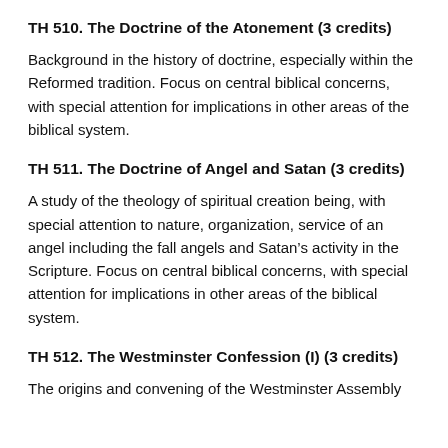TH 510. The Doctrine of the Atonement (3 credits)
Background in the history of doctrine, especially within the Reformed tradition. Focus on central biblical concerns, with special attention for implications in other areas of the biblical system.
TH 511. The Doctrine of Angel and Satan (3 credits)
A study of the theology of spiritual creation being, with special attention to nature, organization, service of an angel including the fall angels and Satan’s activity in the Scripture. Focus on central biblical concerns, with special attention for implications in other areas of the biblical system.
TH 512. The Westminster Confession (I) (3 credits)
The origins and convening of the Westminster Assembly...